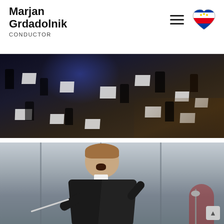Marjan Grdadolnik CONDUCTOR
[Figure (photo): Aerial/overhead view of a full orchestra rehearsing or performing in a concert hall, with blue stage lighting, musicians at stands with sheet music, viewed from above and behind the conductor position.]
[Figure (photo): A conductor in a black suit and white shirt holding a baton in his right hand, mouth open as if calling out or singing expressively, performing outdoors or in a large venue. A microphone stand is visible in the lower right.]